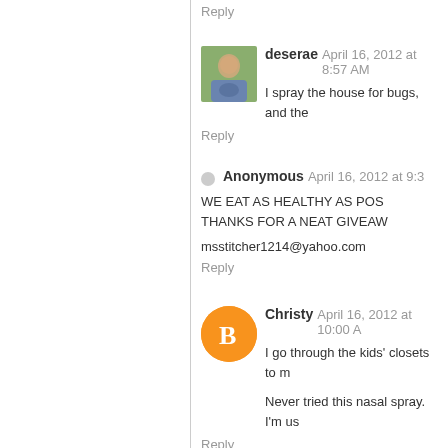Reply
deserae   April 16, 2012 at 8:57 AM
I spray the house for bugs, and the
Reply
Anonymous   April 16, 2012 at 9:3
WE EAT AS HEALTHY AS POS THANKS FOR A NEAT GIVEAW
msstitcher1214@yahoo.com
Reply
Christy   April 16, 2012 at 10:00 A
I go through the kids' closets to m
Never tried this nasal spray. I'm us
Reply